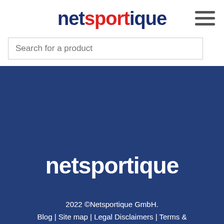[Figure (logo): netsportique logo in dark blue and red on white header bar]
[Figure (other): Hamburger menu icon (three horizontal lines) in dark grey]
Search for a product
[Figure (logo): netsportique logo in white on dark blue footer background]
2022 ©Netsportique GmbH.
Blog | Site map | Legal Disclaimers | Terms & Conditions | Protection of personal data
[Figure (other): SAEZAM watermark text in faint white on dark blue background]